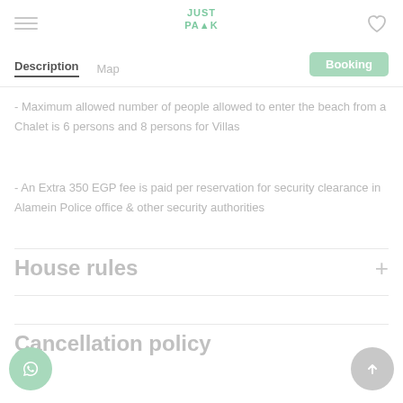[Figure (logo): JustPack green logo text in center header]
Description | Map | Booking
- Maximum allowed number of people allowed to enter the beach from a Chalet is 6 persons and 8 persons for Villas
- An Extra 350 EGP fee is paid per reservation for security clearance in Alamein Police office & other security authorities
House rules
Cancellation policy